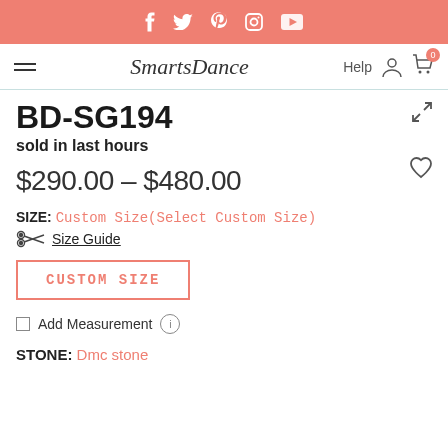Social bar with icons: facebook, twitter, pinterest, instagram, youtube
SmartsDance — Help, user icon, cart (0)
BD-SG194
sold in last hours
$290.00 – $480.00
SIZE: Custom Size(Select Custom Size)
Size Guide
CUSTOM SIZE
Add Measurement
STONE: Dmc stone